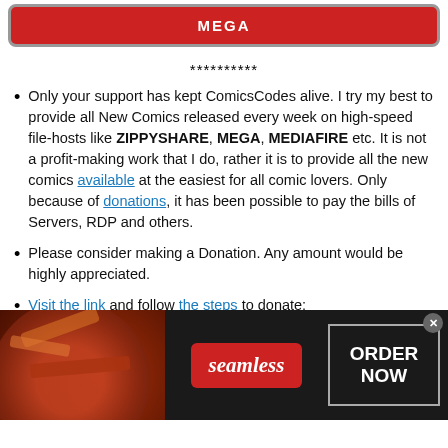[Figure (screenshot): Red MEGA button/banner with white bold text 'MEGA' on red background with rounded border]
**********
Only your support has kept ComicsCodes alive. I try my best to provide all New Comics released every week on high-speed file-hosts like ZIPPYSHARE, MEGA, MEDIAFIRE etc. It is not a profit-making work that I do, rather it is to provide all the new comics available at the easiest for all comic lovers. Only because of donations, it has been possible to pay the bills of Servers, RDP and others.
Please consider making a Donation. Any amount would be highly appreciated.
Visit the link and follow the steps to donate:
[Figure (screenshot): Seamless food delivery advertisement banner with pizza image, red Seamless logo button, and 'ORDER NOW' button in white text on dark background]